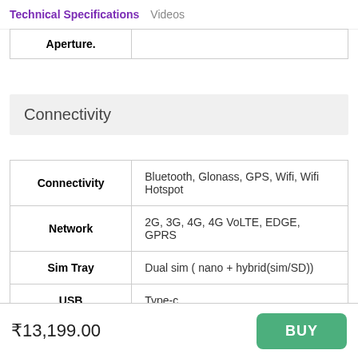Technical Specifications  Videos
| Aperture. |  |
| --- | --- |
| Aperture. |  |
Connectivity
|  |  |
| --- | --- |
| Connectivity | Bluetooth, Glonass, GPS, Wifi, Wifi Hotspot |
| Network | 2G, 3G, 4G, 4G VoLTE, EDGE, GPRS |
| Sim Tray | Dual sim ( nano + hybrid(sim/SD)) |
| USB | Type-c |
₹13,199.00  BUY